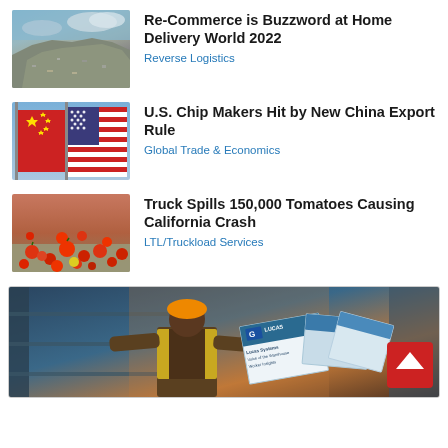[Figure (photo): Photo of a large garbage/waste dump mound under a cloudy sky]
Re-Commerce is Buzzword at Home Delivery World 2022
Reverse Logistics
[Figure (photo): Photo of Chinese and American flags side by side against blue sky]
U.S. Chip Makers Hit by New China Export Rule
Global Trade & Economics
[Figure (photo): Photo of tomatoes spilled on a road from a truck accident]
Truck Spills 150,000 Tomatoes Causing California Crash
LTL/Truckload Services
[Figure (photo): Advertisement banner showing a warehouse worker in a yellow vest holding a Lucas Systems brochure titled Voice of the Warehouse Worker Insights, with a red scroll-to-top button]